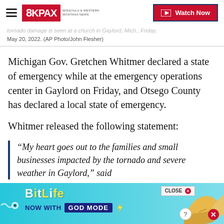8KPAX | Watch Now
tornado damage is seen at a church in Gaylord, Mich., Friday, May 20, 2022. (AP Photo/John Flesher)
Michigan Gov. Gretchen Whitmer declared a state of emergency while at the emergency operations center in Gaylord on Friday, and Otsego County has declared a local state of emergency.
Whitmer released the following statement:
“My heart goes out to the families and small businesses impacted by the tornado and severe weather in Gaylord,” said
[Figure (infographic): BitLife advertisement banner: NOW WITH GOD MODE, with decorative hand illustration]